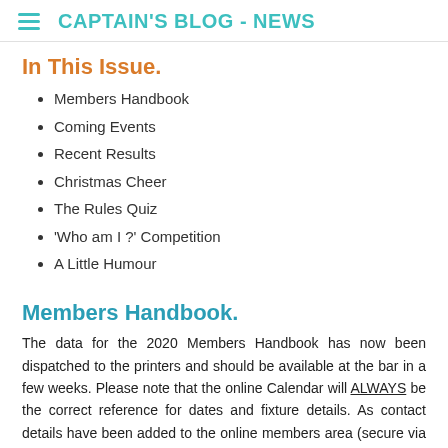CAPTAIN'S BLOG - NEWS
In This Issue.
Members Handbook
Coming Events
Recent Results
Christmas Cheer
The Rules Quiz
'Who am I ?' Competition
A Little Humour
Members Handbook.
The data for the 2020 Members Handbook has now been dispatched to the printers and should be available at the bar in a few weeks. Please note that the online Calendar will ALWAYS be the correct reference for dates and fixture details. As contact details have been added to the online members area (secure via login), everything you need for